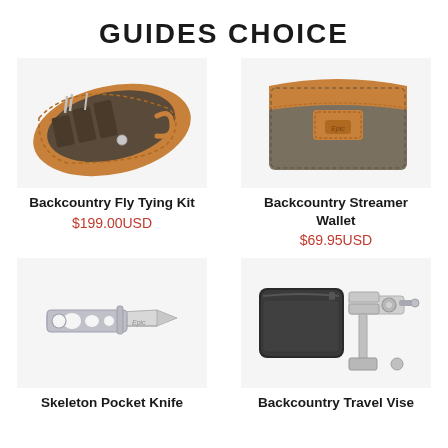GUIDES CHOICE
[Figure (photo): Backcountry Fly Tying Kit - open leather and canvas tan/brown roll pouch with fly tying tools]
Backcountry Fly Tying Kit
$199.00USD
[Figure (photo): Backcountry Streamer Wallet - closed grey waxed canvas wallet with tan leather strap closure]
Backcountry Streamer Wallet
$69.95USD
[Figure (photo): Skeleton Pocket Knife - silver stainless steel folding knife with skeletonized frame]
Skeleton Pocket Knife
[Figure (photo): Backcountry Travel Vise - black zippered case with silver aluminum fly tying travel vise beside it]
Backcountry Travel Vise